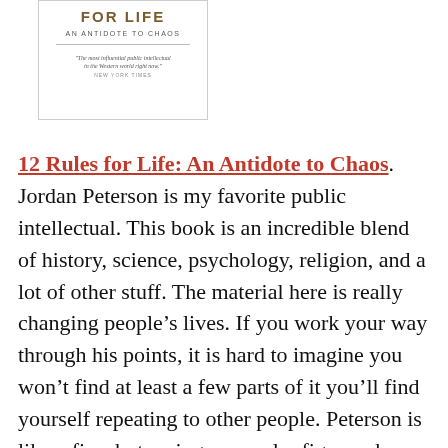[Figure (illustration): Book cover of '12 Rules for Life: An Antidote to Chaos' by Jordan Peterson. Shows title text in brown/gold lettering, subtitle 'AN ANTIDOTE TO CHAOS', a decorative divider line, and a pull quote from the New York Times: 'The most influential public intellectual in the Western world right now.']
12 Rules for Life: An Antidote to Chaos. Jordan Peterson is my favorite public intellectual. This book is an incredible blend of history, science, psychology, religion, and a lot of other stuff. The material here is really changing people's lives. If you work your way through his points, it is hard to imagine you won't find at least a few parts of it you'll find yourself repeating to other people. Peterson is like a firm but caring avuncular figure who wants to see you reach your potential in this chaotic world. It's a long, but worthwhile read.